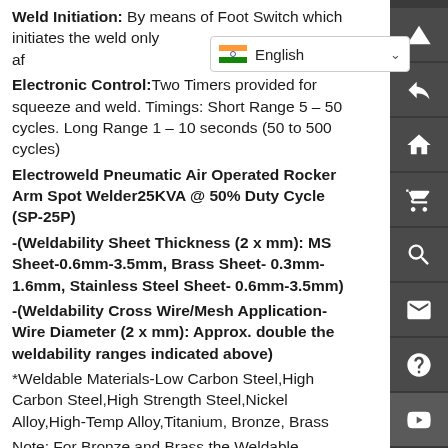Weld Initiation: By means of Foot Switch which initiates the weld only after the required pressure is built up.
Electronic Control:Two Timers provided for squeeze and weld. Timings: Short Range 5 - 50 cycles. Long Range 1 - 10 seconds (50 to 500 cycles)
Electroweld Pneumatic Air Operated Rocker Arm Spot Welder25KVA @ 50% Duty Cycle (SP-25P)
-(Weldability Sheet Thickness (2 x mm): MS Sheet-0.6mm-3.5mm, Brass Sheet- 0.3mm-1.6mm, Stainless Steel Sheet- 0.6mm-3.5mm)
-(Weldability Cross Wire/Mesh Application-Wire Diameter (2 x mm): Approx. double the weldability ranges indicated above)
*Weldable Materials-Low Carbon Steel,High Carbon Steel,High Strength Steel,Nickel Alloy,High-Temp Alloy,Titanium, Bronze, Brass
Note: For Bronze and Brass the Weldable thickness reduces and specs are available in table below
* Galvanized Steel Sheet Spot Welding- Galvanizing is a coating of zinc metal that is applied to the steel